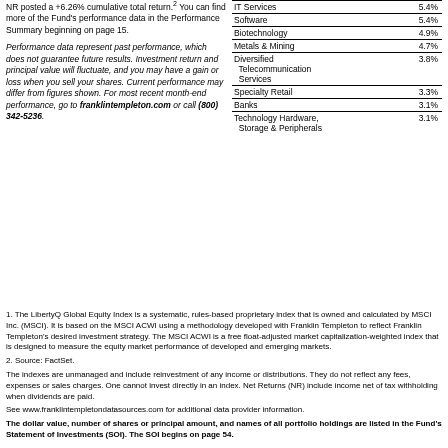NR posted a +6.26% cumulative total return.2 You can find more of the Fund's performance data in the Performance Summary beginning on page 15.
Performance data represent past performance, which does not guarantee future results. Investment return and principal value will fluctuate, and you may have a gain or loss when you sell your shares. Current performance may differ from figures shown. For most recent month-end performance, go to franklintempleton.com or call (800) 342-5236.
|  |  |
| --- | --- |
| IT Services | 5.4% |
| Software | 5.4% |
| Biotechnology | 4.9% |
| Metals & Mining | 4.7% |
| Diversified Telecommunication Services | 3.8% |
| Specialty Retail | 3.3% |
| Banks | 3.1% |
| Technology Hardware, Storage & Peripherals | 3.1% |
1. The LibertyQ Global Equity Index is a systematic, rules-based proprietary index that is owned and calculated by MSCI Inc. (MSCI). It is based on the MSCI ACWI using a methodology developed with Franklin Templeton to reflect Franklin Templeton's desired investment strategy. The MSCI ACWI is a free float-adjusted market capitalization-weighted index that is designed to measure the equity market performance of developed and emerging markets.
2. Source: FactSet.
The indexes are unmanaged and include reinvestment of any income or distributions. They do not reflect any fees, expenses or sales charges. One cannot invest directly in an index. Net Returns (NR) include income net of tax withholding when dividends are paid.
See www.franklintempletondatasources.com for additional data provider information.
The dollar value, number of shares or principal amount, and names of all portfolio holdings are listed in the Fund's Statement of Investments (SOI). The SOI begins on page 54.